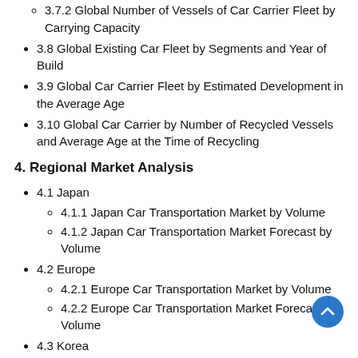3.7.2 Global Number of Vessels of Car Carrier Fleet by Carrying Capacity
3.8 Global Existing Car Fleet by Segments and Year of Build
3.9 Global Car Carrier Fleet by Estimated Development in the Average Age
3.10 Global Car Carrier by Number of Recycled Vessels and Average Age at the Time of Recycling
4. Regional Market Analysis
4.1 Japan
4.1.1 Japan Car Transportation Market by Volume
4.1.2 Japan Car Transportation Market Forecast by Volume
4.2 Europe
4.2.1 Europe Car Transportation Market by Volume
4.2.2 Europe Car Transportation Market Forecast by Volume
4.3 Korea
4.3.1 Korea Car Transportation Market by Volume
4.3.2 Korea Car Transportation Market Forecast by